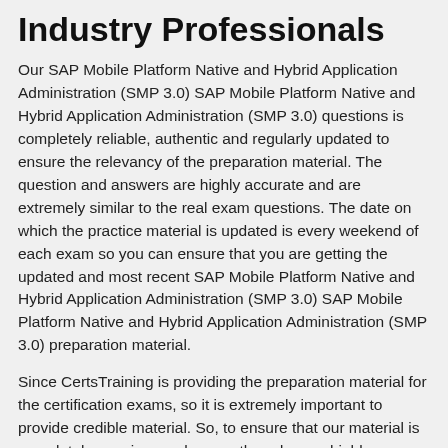Industry Professionals
Our SAP Mobile Platform Native and Hybrid Application Administration (SMP 3.0) SAP Mobile Platform Native and Hybrid Application Administration (SMP 3.0) questions is completely reliable, authentic and regularly updated to ensure the relevancy of the preparation material. The question and answers are highly accurate and are extremely similar to the real exam questions. The date on which the practice material is updated is every weekend of each exam so you can ensure that you are getting the updated and most recent SAP Mobile Platform Native and Hybrid Application Administration (SMP 3.0) SAP Mobile Platform Native and Hybrid Application Administration (SMP 3.0) preparation material.
Since CertsTraining is providing the preparation material for the certification exams, so it is extremely important to provide credible material. So, to ensure that our material is completely genuine, we have gathered some highly qualified and experienced professionals from the SAP industry to verify that our preparation material is completely reliable and relevant. These industry